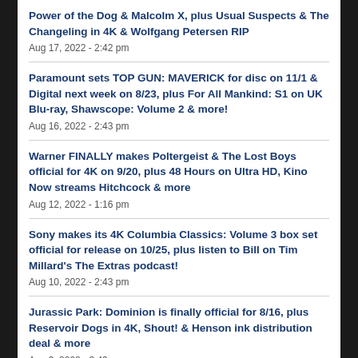Power of the Dog & Malcolm X, plus Usual Suspects & The Changeling in 4K & Wolfgang Petersen RIP
Aug 17, 2022 - 2:42 pm
Paramount sets TOP GUN: MAVERICK for disc on 11/1 & Digital next week on 8/23, plus For All Mankind: S1 on UK Blu-ray, Shawscope: Volume 2 & more!
Aug 16, 2022 - 2:43 pm
Warner FINALLY makes Poltergeist & The Lost Boys official for 4K on 9/20, plus 48 Hours on Ultra HD, Kino Now streams Hitchcock & more
Aug 12, 2022 - 1:16 pm
Sony makes its 4K Columbia Classics: Volume 3 box set official for release on 10/25, plus listen to Bill on Tim Millard's The Extras podcast!
Aug 10, 2022 - 2:43 pm
Jurassic Park: Dominion is finally official for 8/16, plus Reservoir Dogs in 4K, Shout! & Henson ink distribution deal & more
Aug 9, 2022 - 3:49 pm